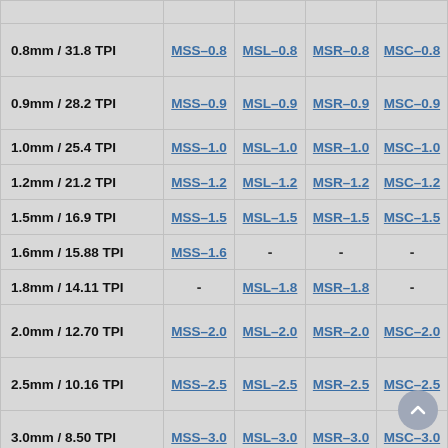| Size | MSS | MSL | MSR | MSC |
| --- | --- | --- | --- | --- |
| 0.8mm / 31.8 TPI | MSS-0.8 | MSL-0.8 | MSR-0.8 | MSC-0.8 |
| 0.9mm / 28.2 TPI | MSS-0.9 | MSL-0.9 | MSR-0.9 | MSC-0.9 |
| 1.0mm / 25.4 TPI | MSS-1.0 | MSL-1.0 | MSR-1.0 | MSC-1.0 |
| 1.2mm / 21.2 TPI | MSS-1.2 | MSL-1.2 | MSR-1.2 | MSC-1.2 |
| 1.5mm / 16.9 TPI | MSS-1.5 | MSL-1.5 | MSR-1.5 | MSC-1.5 |
| 1.6mm / 15.88 TPI | MSS-1.6 | - | - | - |
| 1.8mm / 14.11 TPI | - | MSL-1.8 | MSR-1.8 | - |
| 2.0mm / 12.70 TPI | MSS-2.0 | MSL-2.0 | MSR-2.0 | MSC-2.0 |
| 2.5mm / 10.16 TPI | MSS-2.5 | MSL-2.5 | MSR-2.5 | MSC-2.5 |
| 3.0mm / 8.50 TPI | MSS-3.0 | MSL-3.0 | MSR-3.0 | MSC-3.0 |